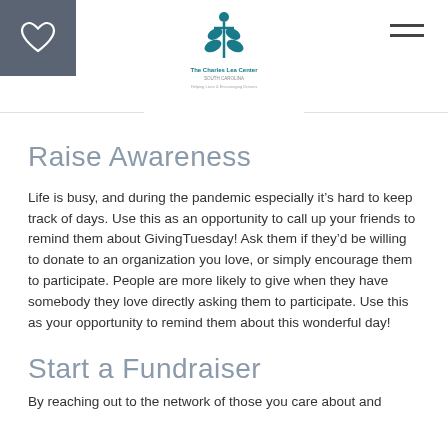[Figure (logo): The Charles Lea Center logo with teal plant/wheat icon and text below]
Raise Awareness
Life is busy, and during the pandemic especially it’s hard to keep track of days. Use this as an opportunity to call up your friends to remind them about GivingTuesday! Ask them if they’d be willing to donate to an organization you love, or simply encourage them to participate. People are more likely to give when they have somebody they love directly asking them to participate. Use this as your opportunity to remind them about this wonderful day!
Start a Fundraiser